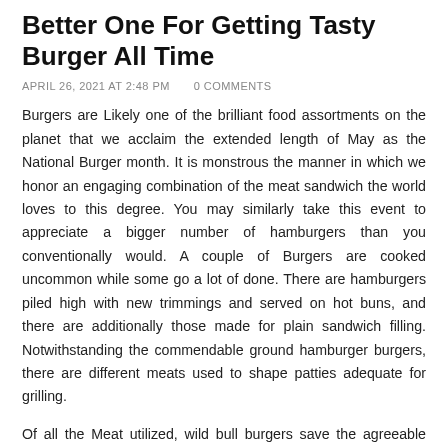Better One For Getting Tasty Burger All Time
APRIL 26, 2021 AT 2:48 PM   0 COMMENTS
Burgers are Likely one of the brilliant food assortments on the planet that we acclaim the extended length of May as the National Burger month. It is monstrous the manner in which we honor an engaging combination of the meat sandwich the world loves to this degree. You may similarly take this event to appreciate a bigger number of hamburgers than you conventionally would. A couple of Burgers are cooked uncommon while some go a lot of done. There are hamburgers piled high with new trimmings and served on hot buns, and there are additionally those made for plain sandwich filling. Notwithstanding the commendable ground hamburger burgers, there are different meats used to shape patties adequate for grilling.
Of all the Meat utilized, wild bull burgers save the agreeable generous kind of ground hamburger, yet are more costly than their hamburger companions. Nevertheless, Buffalo meat is assessed that the better meat generally because of the more trait developing methodologies, contrasted and the more firm